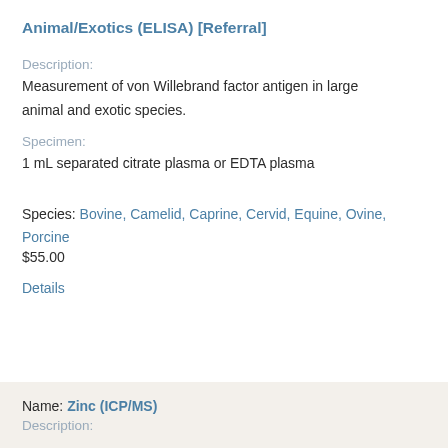Animal/Exotics (ELISA) [Referral]
Description:
Measurement of von Willebrand factor antigen in large animal and exotic species.
Specimen:
1 mL separated citrate plasma or EDTA plasma
Species: Bovine, Camelid, Caprine, Cervid, Equine, Ovine, Porcine
$55.00
Details
Name: Zinc (ICP/MS)
Description: